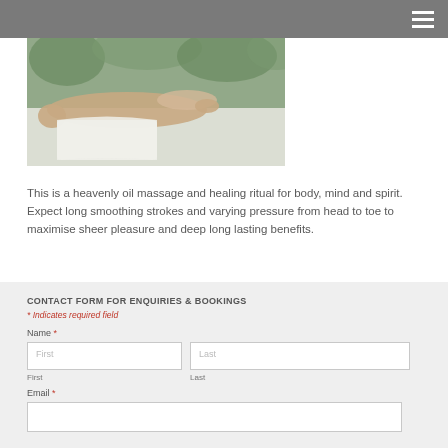[Figure (photo): A person receiving an oil massage outdoors, lying face-down on a massage table, with a therapist applying pressure to their back.]
This is a heavenly oil massage and healing ritual for body, mind and spirit. Expect long smoothing strokes and varying pressure from head to toe to maximise sheer pleasure and deep long lasting benefits.
CONTACT FORM FOR ENQUIRIES & BOOKINGS
* Indicates required field
Name *
First
Last
Email *